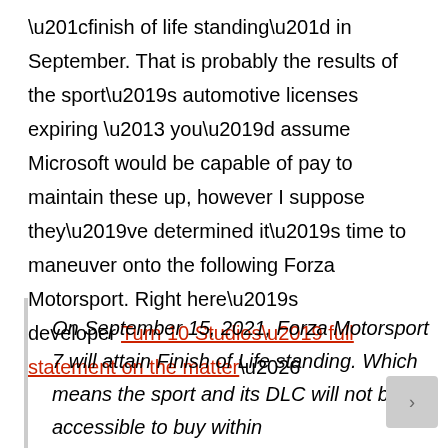“finish of life standing” in September. That is probably the results of the sport’s automotive licenses expiring – you’d assume Microsoft would be capable of pay to maintain these up, however I suppose they’ve determined it’s time to maneuver onto the following Forza Motorsport. Right here’s developer Turn 10 Studios’ full statement on the matter…
On September 15, 2021, Forza Motorsport 7 will attain Finish of Life standing. Which means the sport and its DLC will not be accessible to buy within